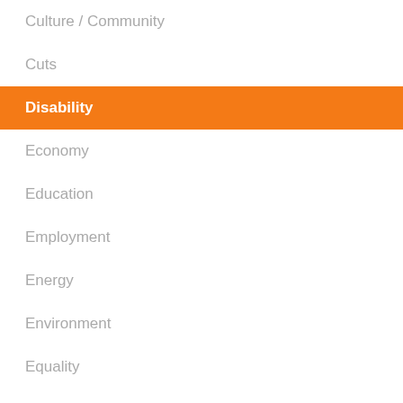Culture / Community
Cuts
Disability
Economy
Education
Employment
Energy
Environment
Equality
Families